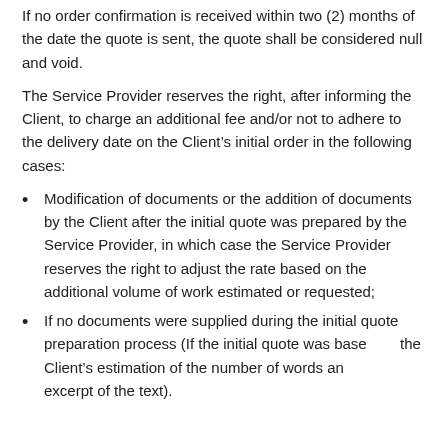If no order confirmation is received within two (2) months of the date the quote is sent, the quote shall be considered null and void.
The Service Provider reserves the right, after informing the Client, to charge an additional fee and/or not to adhere to the delivery date on the Client’s initial order in the following cases:
Modification of documents or the addition of documents by the Client after the initial quote was prepared by the Service Provider, in which case the Service Provider reserves the right to adjust the rate based on the additional volume of work estimated or requested;
If no documents were supplied during the initial quote preparation process (If the initial quote was based on the Client’s estimation of the number of words and an excerpt of the text).